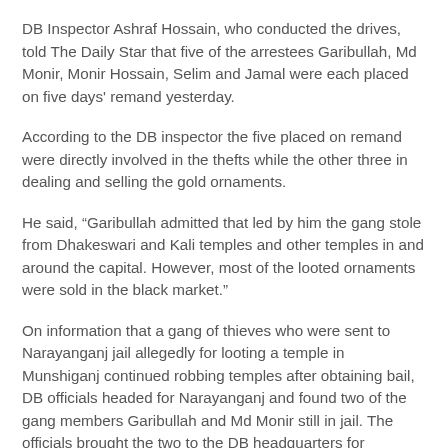DB Inspector Ashraf Hossain, who conducted the drives, told The Daily Star that five of the arrestees Garibullah, Md Monir, Monir Hossain, Selim and Jamal were each placed on five days' remand yesterday.
According to the DB inspector the five placed on remand were directly involved in the thefts while the other three in dealing and selling the gold ornaments.
He said, “Garibullah admitted that led by him the gang stole from Dhakeswari and Kali temples and other temples in and around the capital. However, most of the looted ornaments were sold in the black market.”
On information that a gang of thieves who were sent to Narayanganj jail allegedly for looting a temple in Munshiganj continued robbing temples after obtaining bail, DB officials headed for Narayanganj and found two of the gang members Garibullah and Md Monir still in jail. The officials brought the two to the DB headquarters for interrogation, said a DMP press release.